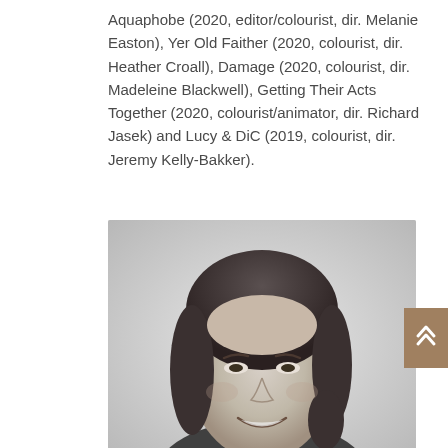Aquaphobe (2020, editor/colourist, dir. Melanie Easton), Yer Old Faither (2020, colourist, dir. Heather Croall), Damage (2020, colourist, dir. Madeleine Blackwell), Getting Their Acts Together (2020, colourist/animator, dir. Richard Jasek) and Lucy & DiC (2019, colourist, dir. Jeremy Kelly-Bakker).
[Figure (photo): Black and white headshot portrait of a woman with shoulder-length brown hair, smiling, on a light grey background.]